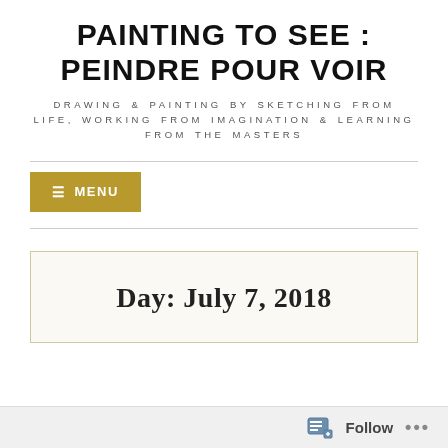PAINTING TO SEE : PEINDRE POUR VOIR
DRAWING & PAINTING BY SKETCHING FROM LIFE, WORKING FROM IMAGINATION & LEARNING FROM THE MASTERS
≡ MENU
Day: July 7, 2018
Follow ...